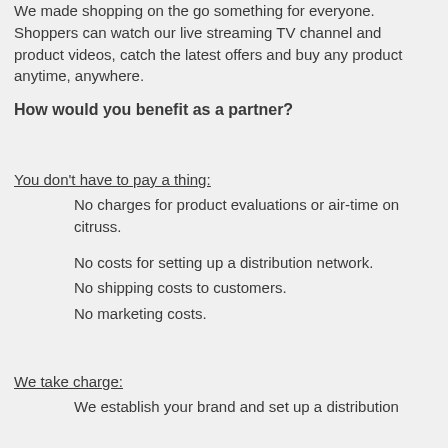We made shopping on the go something for everyone. Shoppers can watch our live streaming TV channel and product videos, catch the latest offers and buy any product anytime, anywhere.
How would you benefit as a partner?
You don't have to pay a thing:
No charges for product evaluations or air-time on citruss.
No costs for setting up a distribution network.
No shipping costs to customers.
No marketing costs.
We take charge:
We establish your brand and set up a distribution